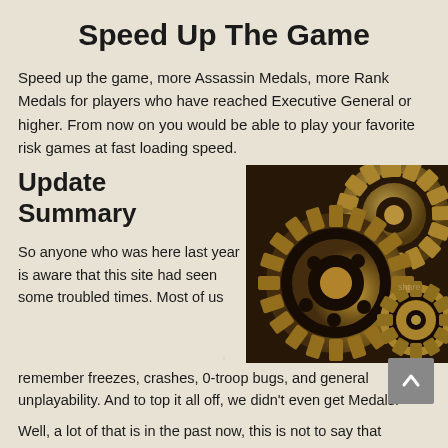Speed Up The Game
Speed up the game, more Assassin Medals, more Rank Medals for players who have reached Executive General or higher. From now on you would be able to play your favorite risk games at fast loading speed.
Update Summary
[Figure (photo): Close-up photograph of interlocking bronze/gold colored mechanical gears]
So anyone who was here last year is aware that this site had seen some troubled times. Most of us remember freezes, crashes, 0-troop bugs, and general unplayability. And to top it all off, we didn't even get Medals!
Well, a lot of that is in the past now, this is not to say that